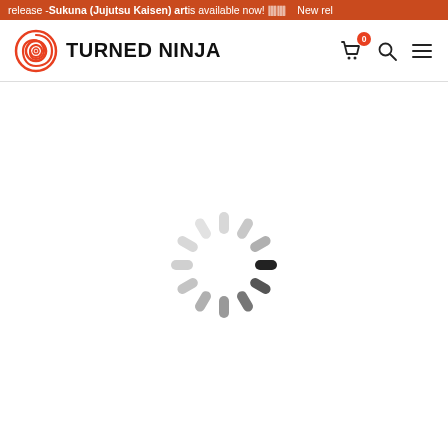release - Sukuna (Jujutsu Kaisen) art is available now! 🀫🀫 New rel
[Figure (logo): Turned Ninja brand logo with spiral icon and bold text 'TURNED NINJA']
[Figure (illustration): Loading spinner animation graphic — circular arrangement of 12 rounded bars fading from dark gray/black to light gray]